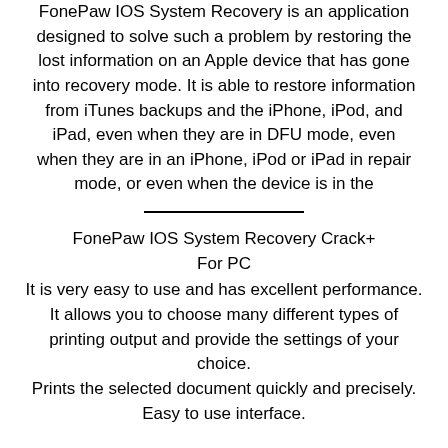FonePaw IOS System Recovery is an application designed to solve such a problem by restoring the lost information on an Apple device that has gone into recovery mode. It is able to restore information from iTunes backups and the iPhone, iPod, and iPad, even when they are in DFU mode, even when they are in an iPhone, iPod or iPad in repair mode, or even when the device is in the
FonePaw IOS System Recovery Crack+ For PC
It is very easy to use and has excellent performance.
It allows you to choose many different types of printing output and provide the settings of your choice.
Prints the selected document quickly and precisely.
Easy to use interface.